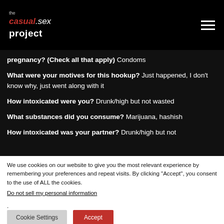the casual.sex project
pregnancy? (Check all that apply) Condoms
What were your motives for this hookup? Just happened, I don't know why, just went along with it
How intoxicated were you? Drunk/high but not wasted
What substances did you consume? Marijuana, hashish
How intoxicated was your partner? Drunk/high but not
We use cookies on our website to give you the most relevant experience by remembering your preferences and repeat visits. By clicking "Accept", you consent to the use of ALL the cookies.
Do not sell my personal information.
Cookie Settings  Accept